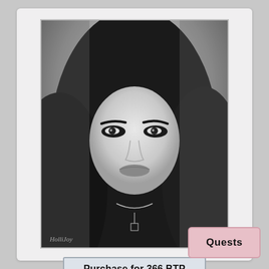[Figure (photo): Black and white portrait photograph of a woman with long dark wavy hair and dramatic eye makeup, wearing a necklace. A watermark reading 'HolliJoy' or similar appears at the bottom left of the photo.]
Purchase for 366 BTP
Current Price: 366 BTP
Views Last 24 Hours: 0
Views Last Week: 0
Views Last Mont
Quests